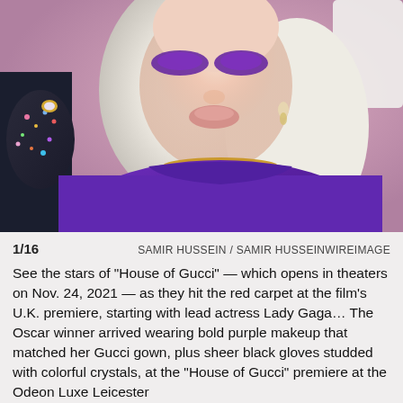[Figure (photo): Lady Gaga in a purple Gucci gown with gold necklace, bold purple eye makeup, and sheer black gloves studded with colorful crystals, posing at the House of Gucci UK premiere. Pink background.]
1/16   SAMIR HUSSEIN / SAMIR HUSSEINWIREIMAGE
See the stars of "House of Gucci" — which opens in theaters on Nov. 24, 2021 — as they hit the red carpet at the film's U.K. premiere, starting with lead actress Lady Gaga... The Oscar winner arrived wearing bold purple makeup that matched her Gucci gown, plus sheer black gloves studded with colorful crystals, at the "House of Gucci" premiere at the Odeon Luxe Leicester